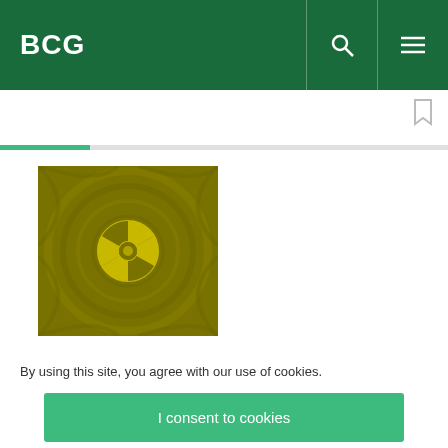BCG
[Figure (photo): Olive/yellow-green square image with a radioactive/nuclear symbol (trefoil hazard symbol) in the center, surrounded by circular wave patterns]
By using this site, you agree with our use of cookies.
I consent to cookies
Want to know more?
Read our Cookie Policy